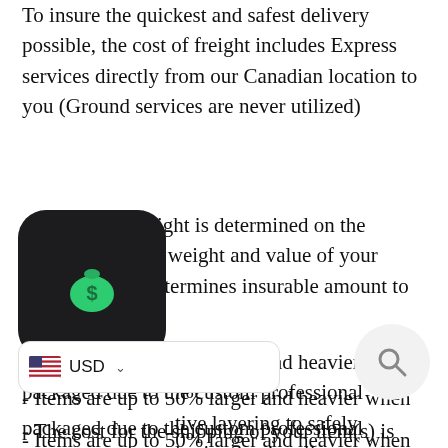To insure the quickest and safest delivery possible, the cost of freight includes Express services directly from our Canadian location to you (Ground services are never utilized)
- The cost of freight is determined on the destination, size, weight and value of your item(s) (value determines insurable amount to be given)
- Items are up to 50% larger and heavier when packaged due to the custom professional protective layering to safely transport your pieces internationally.
- The cost for the shipping of your item(s) is